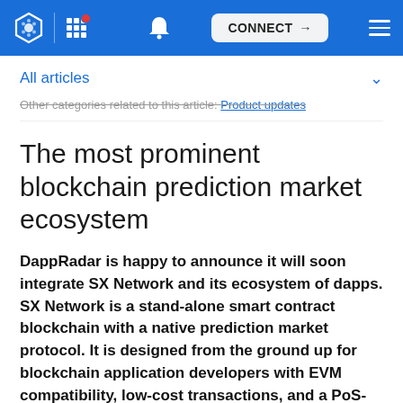CONNECT
All articles
Other categories related to this article: Product updates
The most prominent blockchain prediction market ecosystem
DappRadar is happy to announce it will soon integrate SX Network and its ecosystem of dapps. SX Network is a stand-alone smart contract blockchain with a native prediction market protocol. It is designed from the ground up for blockchain application developers with EVM compatibility, low-cost transactions, and a PoS-based consensus model. Until the integration